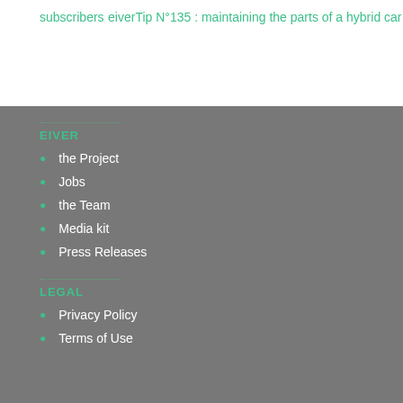subscribers
eiverTip N°135 : maintaining the parts of a hybrid car
EIVER
the Project
Jobs
the Team
Media kit
Press Releases
LEGAL
Privacy Policy
Terms of Use